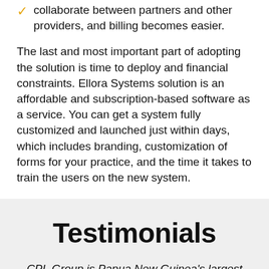collaborate between partners and other providers, and billing becomes easier.
The last and most important part of adopting the solution is time to deploy and financial constraints. Ellora Systems solution is an affordable and subscription-based software as a service. You can get a system fully customized and launched just within days, which includes branding, customization of forms for your practice, and the time it takes to train the users on the new system.
Testimonials
CPL Group is Papua New Guinea's largest